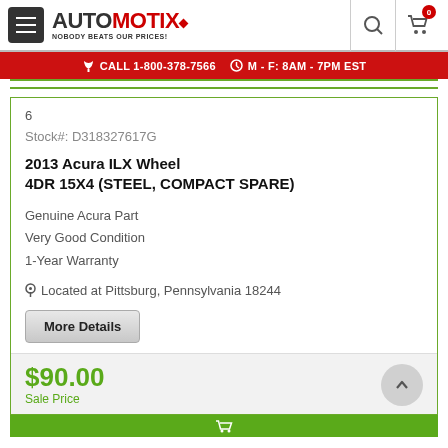[Figure (logo): Automotix logo with hamburger menu icon and tagline NOBODY BEATS OUR PRICES!]
CALL 1-800-378-7566   M - F: 8AM - 7PM EST
6
Stock#: D318327617G
2013 Acura ILX Wheel 4DR 15X4 (STEEL, COMPACT SPARE)
Genuine Acura Part
Very Good Condition
1-Year Warranty
Located at Pittsburg, Pennsylvania 18244
More Details
$90.00
Sale Price